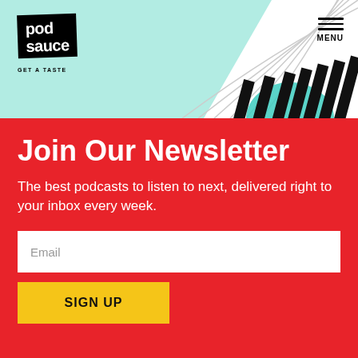[Figure (logo): Pod Sauce logo — black rectangular badge with white bold text reading 'pod sauce' and tagline 'GET A TASTE' below, with decorative curved lines and teal/mint background shape in header]
Join Our Newsletter
The best podcasts to listen to next, delivered right to your inbox every week.
Email
SIGN UP